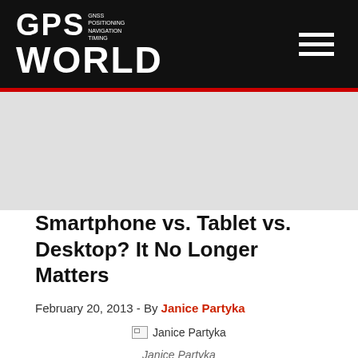GPS WORLD
[Figure (other): Gray banner/advertisement area below header]
Smartphone vs. Tablet vs. Desktop? It No Longer Matters
February 20, 2013 - By Janice Partyka
[Figure (photo): Broken image placeholder for Janice Partyka author photo]
Janice Partyka